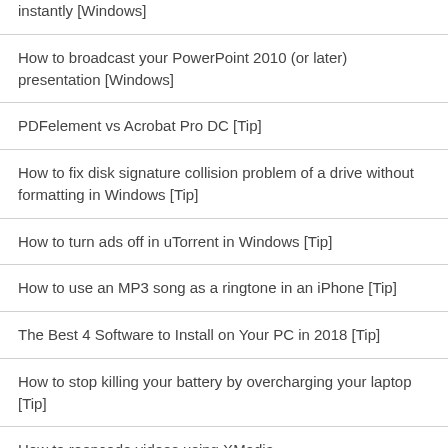instantly [Windows]
How to broadcast your PowerPoint 2010 (or later) presentation [Windows]
PDFelement vs Acrobat Pro DC [Tip]
How to fix disk signature collision problem of a drive without formatting in Windows [Tip]
How to turn ads off in uTorrent in Windows [Tip]
How to use an MP3 song as a ringtone in an iPhone [Tip]
The Best 4 Software to Install on Your PC in 2018 [Tip]
How to stop killing your battery by overcharging your laptop [Tip]
How to reencode videos using XMedia